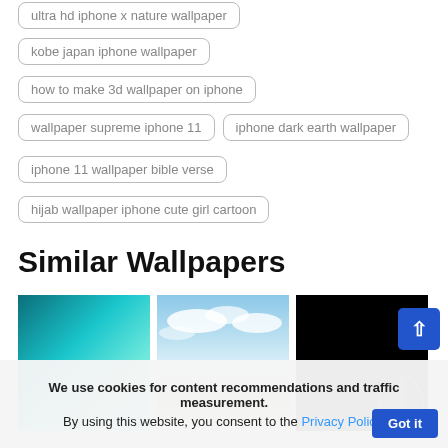ultra hd iphone x nature wallpaper
kobe japan iphone wallpaper
how to make 3d wallpaper on iphone
wallpaper supreme iphone 11
iphone dark earth wallpaper
iphone 11 wallpaper bible verse
hijab wallpaper iphone cute girl cartoon
Similar Wallpapers
[Figure (photo): Teal/blue abstract smoke or underwater nature wallpaper]
[Figure (photo): Sky with clouds and trees/beach scene nature wallpaper]
[Figure (photo): Black background with faint green leaf design wallpaper]
We use cookies for content recommendations and traffic measurement. By using this website, you consent to the Privacy Policy.